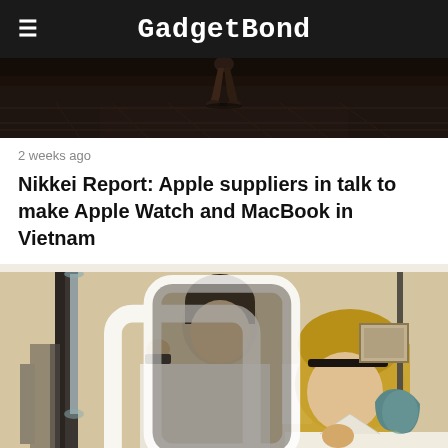GadgetBond
[Figure (photo): Dark cinematic photo showing a person's legs/feet walking on a tiled floor, dimly lit scene]
2 weeks ago
Nikkei Report: Apple suppliers in talk to make Apple Watch and MacBook in Vietnam
[Figure (photo): Two people in a lab or workshop setting; a young man and a young woman examining equipment together, with lab glassware and instruments visible]